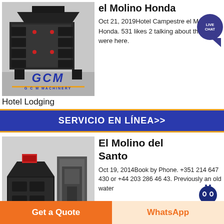[Figure (photo): Industrial crusher machine with GCM Machinery logo, dark grey machine in warehouse setting]
el Molino Honda
Oct 21, 2019Hotel Campestre el Molino Honda. 531 likes 2 talking about this 33 were here.
Hotel Lodging
SERVICIO EN LÍNEA>>
[Figure (photo): Industrial cone crusher and VSI machine with GCM Machinery logo in factory setting]
El Molino del Santo
Oct 19, 2014Book by Phone. +351 214 647 430 or +44 203 286 46 43. Previously an old water
Get a Quote
WhatsApp